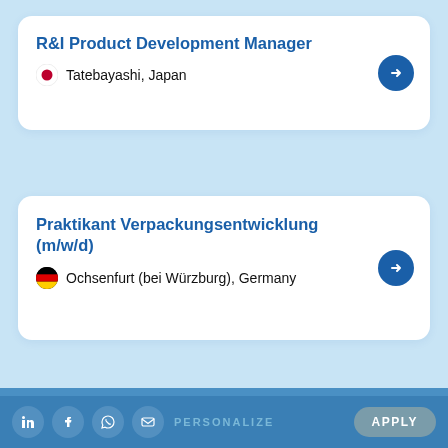R&I Product Development Manager — Tatebayashi, Japan
Praktikant Verpackungsentwicklung (m/w/d) — Ochsenfurt (bei Würzburg), Germany
MORE JOBS →
We at Danone use cookies to provide you with the best experience on our website. You can read our cookie statement for more information.
PERSONALIZE  APPLY